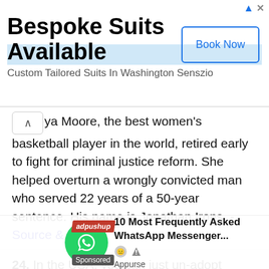[Figure (other): Advertisement banner: 'Bespoke Suits Available' with 'Book Now' button and subtitle 'Custom Tailored Suits In Washington Senszio']
Maya Moore, the best women's basketball player in the world, retired early to fight for criminal justice reform. She helped overturn a wrongly convicted man who served 22 years of a 50-year sentence. His name is Jonathan Irons. - Source & More
24. In the USA, you can just un-adopt children at any point if you don't want them anymore. - Source & More
25. With every bottle of Laphroaig Whisky, you are entitled to a lifetime lease of a plot of land in Scotland (1ft squared). - Source
[Figure (other): Bottom ad overlay with adpushup badge, WhatsApp green circle icon, ad title '10 Most Frequently Asked WhatsApp Messenger...' and source 'Appurse', with Sponsored label]